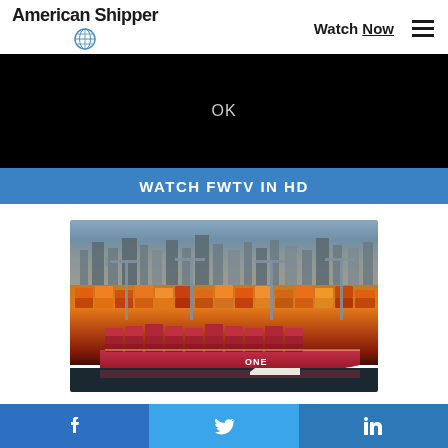American Shipper | Watch Now
[Figure (screenshot): Black bar with 'OK' text centered, representing a video overlay or modal]
WATCH FWTV IN HD
[Figure (photo): Aerial night photograph of a busy container port with a large pink ONE-branded container ship docked, surrounded by colorful stacked containers, cranes, and city skyline in background]
Facebook | Twitter | LinkedIn social share bar